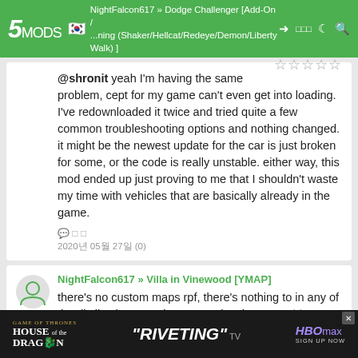5MODS | NightFalcon617 » Dodge Challenger [Add-On / ...ning (Shaker/Hellcat/Redeye/Demon/Liberty Walk)]
@shronit yeah I'm having the same problem, cept for my game can't even get into loading. I've redownloaded it twice and tried quite a few common troubleshooting options and nothing changed. it might be the newest update for the car is just broken for some, or the code is really unstable. either way, this mod ended up just proving to me that I shouldn't waste my time with vehicles that are basically already in the game.
2020년 05월 27일 (0)
NightFalcon617 » Villa in Vinewood [YMAP]
there's no custom maps rpf, there's nothing to in any of the dlc list that even has "Gta 5 levels" or anything. not
[Figure (screenshot): HBO Max advertisement for House of the Dragon with quote RIVETING TV]